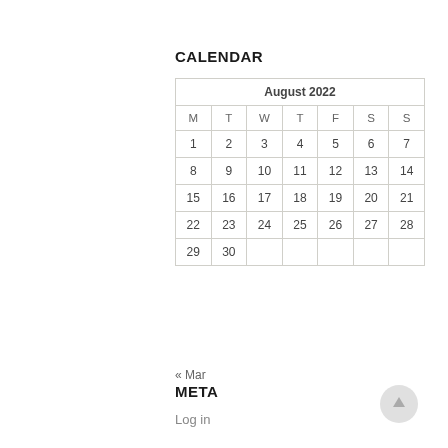CALENDAR
| M | T | W | T | F | S | S |
| --- | --- | --- | --- | --- | --- | --- |
| 1 | 2 | 3 | 4 | 5 | 6 | 7 |
| 8 | 9 | 10 | 11 | 12 | 13 | 14 |
| 15 | 16 | 17 | 18 | 19 | 20 | 21 |
| 22 | 23 | 24 | 25 | 26 | 27 | 28 |
| 29 | 30 |  |  |  |  |  |
« Mar
META
Log in